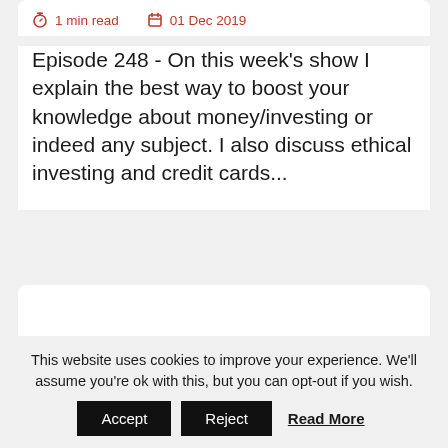1 min read   01 Dec 2019
Episode 248 - On this week's show I explain the best way to boost your knowledge about money/investing or indeed any subject. I also discuss ethical investing and credit cards...
[Figure (other): White card placeholder area, blank white rectangle]
This website uses cookies to improve your experience. We'll assume you're ok with this, but you can opt-out if you wish.
Accept   Reject   Read More